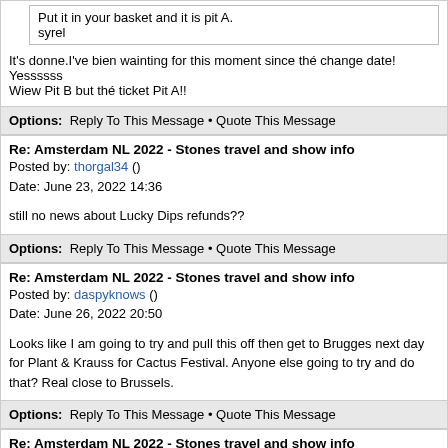Put it in your basket and it is pit A.
syrel
It's donne.I've bien wainting for this moment since thé change date! Yessssss
Wiew Pit B but thé ticket Pit A!!
Options: Reply To This Message • Quote This Message
Re: Amsterdam NL 2022 - Stones travel and show info
Posted by: thorgal34 ()
Date: June 23, 2022 14:36
still no news about Lucky Dips refunds??
Options: Reply To This Message • Quote This Message
Re: Amsterdam NL 2022 - Stones travel and show info
Posted by: daspyknows ()
Date: June 26, 2022 20:50
Looks like I am going to try and pull this off then get to Brugges next day for Plant & Krauss for Cactus Festival. Anyone else going to try and do that? Real close to Brussels.
Options: Reply To This Message • Quote This Message
Re: Amsterdam NL 2022 - Stones travel and show info
Posted by: BowieStone ()
Date: June 27, 2022 02:23